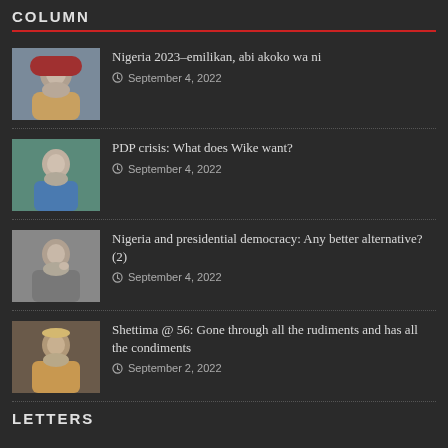COLUMN
Nigeria 2023–emilikan, abi akoko wa ni
PDP crisis: What does Wike want?
Nigeria and presidential democracy: Any better alternative? (2)
Shettima @ 56: Gone through all the rudiments and has all the condiments
LETTERS